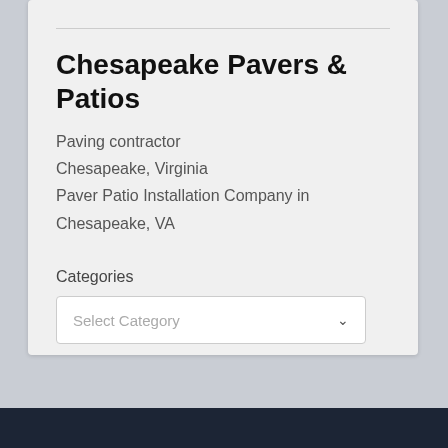Chesapeake Pavers & Patios
Paving contractor
Chesapeake, Virginia
Paver Patio Installation Company in Chesapeake, VA
Categories
Select Category